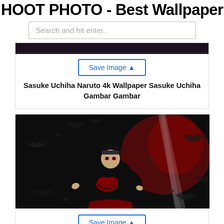HOOT PHOTO - Best Wallpaper Web
Search and hit enter..
[Figure (screenshot): Dark top portion of an anime wallpaper image (cropped, mostly dark)]
Save Image
Sasuke Uchiha Naruto 4k Wallpaper Sasuke Uchiha Gambar Gambar
[Figure (illustration): Anime illustration of Itachi Uchiha in Akatsuki cloak surrounded by crows and red misty background]
Save Image